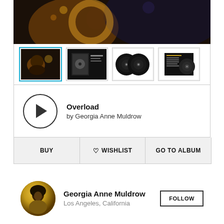[Figure (photo): Hero image showing an artistic close-up of a musician with decorative elements, dark background with warm amber tones]
[Figure (photo): Four album art thumbnails in a row: first selected (blue border) showing artist portrait, second showing album cover with text, third showing two vinyl records, fourth showing album back cover]
[Figure (other): Music player with circular play button and track info]
Overload
by Georgia Anne Muldrow
[Figure (other): Three action buttons: BUY, WISHLIST (with heart icon), GO TO ALBUM]
[Figure (photo): Artist section with circular avatar photo of Georgia Anne Muldrow]
Georgia Anne Muldrow
Los Angeles, California